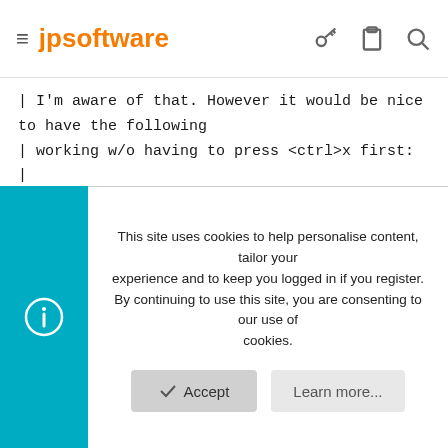jpsoftware
| I'm aware of that. However it would be nice to have the following
| working w/o having to press <ctrl>x first:
|
| %systemroot%\win<tab>
|
| instead of
|
| %systemroot%\win<ctrl>x<tab>
That would be esp. useful when it is part of a FOR command, because using
the "VariableExpand" key also "expands" ALL variables in the
This site uses cookies to help personalise content, tailor your experience and to keep you logged in if you register.
By continuing to use this site, you are consenting to our use of cookies.
Accept
Learn more...